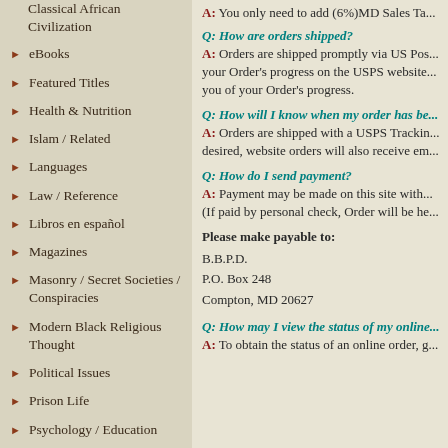Classical African Civilization
eBooks
Featured Titles
Health & Nutrition
Islam / Related
Languages
Law / Reference
Libros en español
Magazines
Masonry / Secret Societies / Conspiracies
Modern Black Religious Thought
Political Issues
Prison Life
Psychology / Education
Religious "Anthropology"
A: You only need to add (6%)MD Sales Ta...
Q: How are orders shipped? A: Orders are shipped promptly via US Pos... your Order's progress on the USPS website... you of your Order's progress.
Q: How will I know when my order has be... A: Orders are shipped with a USPS Trackin... desired, website orders will also receive em...
Q: How do I send payment? A: Payment may be made on this site with... (If paid by personal check, Order will be he...
Please make payable to:
B.B.P.D.
P.O. Box 248
Compton, MD 20627
Q: How may I view the status of my online... A: To obtain the status of an online order, g...